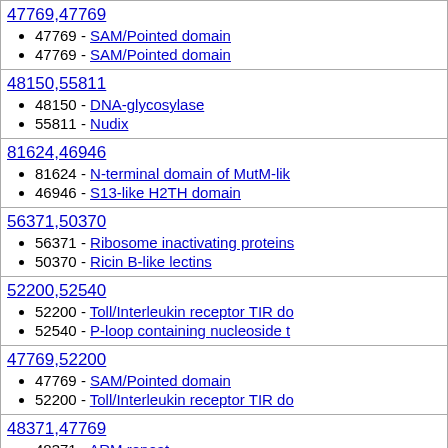|  |
| --- |
| 47769,47769
• 47769 - SAM/Pointed domain
• 47769 - SAM/Pointed domain |
| 48150,55811
• 48150 - DNA-glycosylase
• 55811 - Nudix |
| 81624,46946
• 81624 - N-terminal domain of MutM-lik
• 46946 - S13-like H2TH domain |
| 56371,50370
• 56371 - Ribosome inactivating proteins
• 50370 - Ricin B-like lectins |
| 52200,52540
• 52200 - Toll/Interleukin receptor TIR do
• 52540 - P-loop containing nucleoside t |
| 47769,52200
• 47769 - SAM/Pointed domain
• 52200 - Toll/Interleukin receptor TIR do |
| 48371,47769
• 48371 - ARM repeat
• 47769 - SAM/Pointed domain |
| 50370,50370
• 50370 - Ricin B-like lectins |